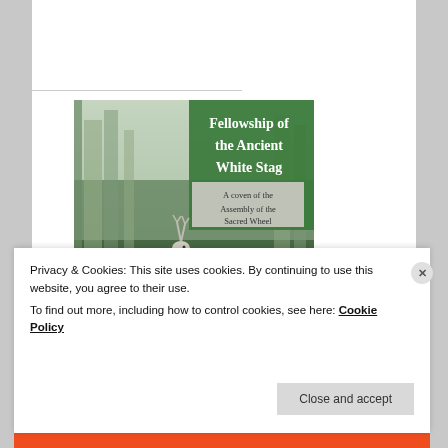[Figure (illustration): Advertisement for Fellowship of the Ancient White Stag (FAWS) - a Wiccan coven. Shows a white stag in a misty forest. Text reads: Fellowship of the Ancient White Stag, A coven of the Assembly of the Sacred Wheel, FAWS is a Wiccan coven based in the northern D.C. suburbs. Most rituals are open! Learn more and connect with us: faws-asw.org]
Fellowship of the Ancient White Stag
Privacy & Cookies: This site uses cookies. By continuing to use this website, you agree to their use.
To find out more, including how to control cookies, see here: Cookie Policy